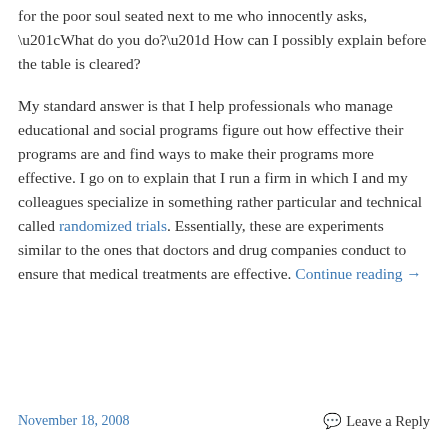for the poor soul seated next to me who innocently asks, “What do you do?” How can I possibly explain before the table is cleared?
My standard answer is that I help professionals who manage educational and social programs figure out how effective their programs are and find ways to make their programs more effective. I go on to explain that I run a firm in which I and my colleagues specialize in something rather particular and technical called randomized trials. Essentially, these are experiments similar to the ones that doctors and drug companies conduct to ensure that medical treatments are effective. Continue reading →
November 18, 2008    Leave a Reply